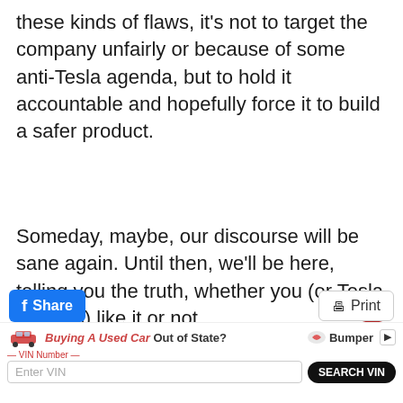these kinds of flaws, it's not to target the company unfairly or because of some anti-Tesla agenda, but to hold it accountable and hopefully force it to build a safer product.
Someday, maybe, our discourse will be sane again. Until then, we'll be here, telling you the truth, whether you (or Tesla fanatics) like it or not.
[Images: Tesla, Twitter]
f Share  Print  Buying A Used Car Out of State? VIN Number Enter VIN SEARCH VIN Bumper